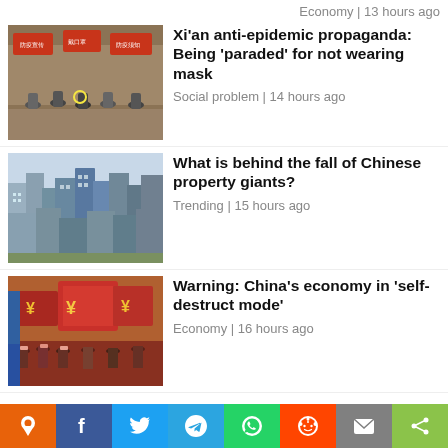Economy | 13 hours ago
[Figure (photo): Crowded market scene with people and banners]
Xi’an anti-epidemic propaganda: Being ‘paraded’ for not wearing mask
Social problem | 14 hours ago
[Figure (photo): Aerial view of Chinese city with high-rise buildings]
What is behind the fall of Chinese property giants?
Trending | 15 hours ago
[Figure (photo): Crowd of people with large boxes, China currency images]
Warning: China’s economy in ‘self-destruct mode’
Economy | 16 hours ago
Solomon Islands secures $66 million loan from China for Huawei deals